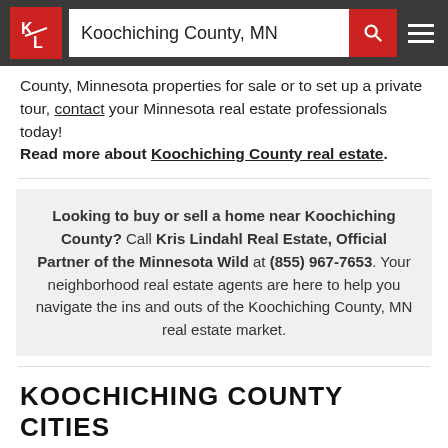Koochiching County, MN
County, Minnesota properties for sale or to set up a private tour, contact your Minnesota real estate professionals today! Read more about Koochiching County real estate.
Looking to buy or sell a home near Koochiching County? Call Kris Lindahl Real Estate, Official Partner of the Minnesota Wild at (855) 967-7653. Your neighborhood real estate agents are here to help you navigate the ins and outs of the Koochiching County, MN real estate market.
KOOCHICHING COUNTY CITIES